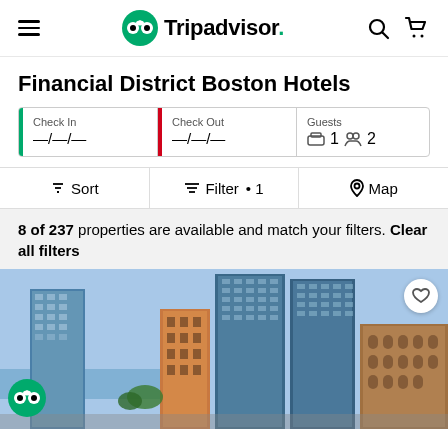Tripadvisor — Financial District Boston Hotels
Financial District Boston Hotels
Check In —/—/—  Check Out —/—/—  Guests 1 2
Sort  Filter • 1  Map
8 of 237 properties are available and match your filters. Clear all filters
[Figure (photo): Aerial photo of Boston Financial District skyline with glass skyscrapers and older brick buildings, blue sky backdrop with waterfront visible]